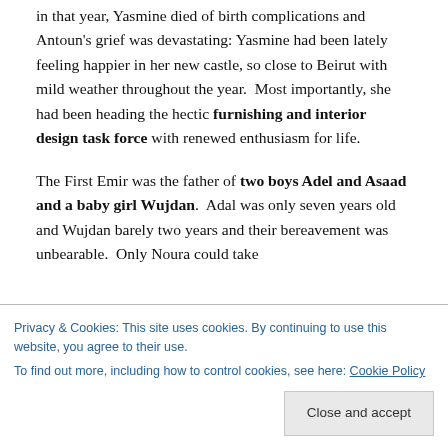in that year, Yasmine died of birth complications and Antoun's grief was devastating: Yasmine had been lately feeling happier in her new castle, so close to Beirut with mild weather throughout the year.  Most importantly, she had been heading the hectic furnishing and interior design task force with renewed enthusiasm for life.

The First Emir was the father of two boys Adel and Asaad and a baby girl Wujdan.  Adal was only seven years old and Wujdan barely two years and their bereavement was unbearable.  Only Noura could take matters in her expert hands, and Antoun ordered her to
Privacy & Cookies: This site uses cookies. By continuing to use this website, you agree to their use.
To find out more, including how to control cookies, see here: Cookie Policy